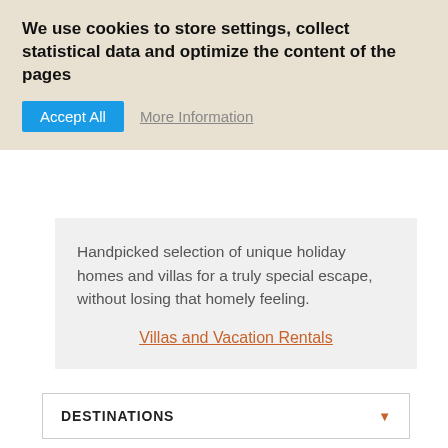We use cookies to store settings, collect statistical data and optimize the content of the pages
Accept All   More Information
Handpicked selection of unique holiday homes and villas for a truly special escape, without losing that homely feeling.
Villas and Vacation Rentals
[Figure (logo): Overlapping map pin / location marker icons in light gray forming a logo]
DESTINATIONS